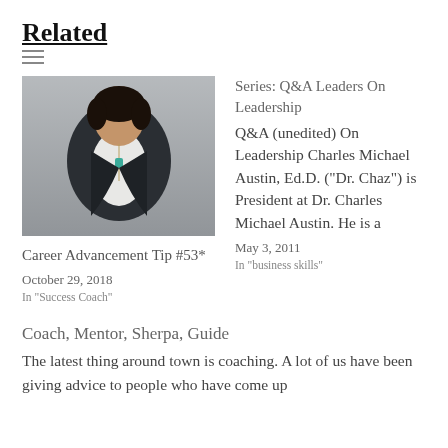Related
[Figure (photo): Woman in dark blazer with white top and long necklace]
Career Advancement Tip #53*
October 29, 2018
In "Success Coach"
Series: Q&A Leaders On Leadership
Q&A (unedited) On Leadership Charles Michael Austin, Ed.D. (“Dr. Chaz”) is President at Dr. Charles Michael Austin.  He is a
May 3, 2011
In "business skills"
Coach, Mentor, Sherpa, Guide
The latest thing around town is coaching. A lot of us have been giving advice to people who have come up